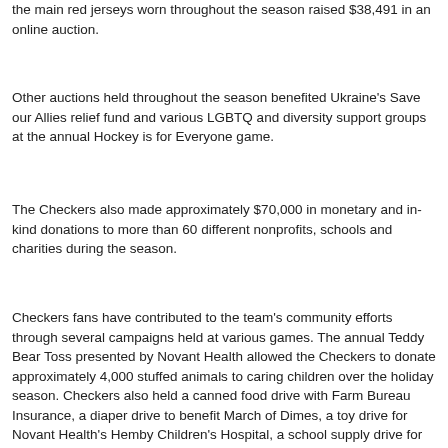the main red jerseys worn throughout the season raised $38,491 in an online auction.
Other auctions held throughout the season benefited Ukraine's Save our Allies relief fund and various LGBTQ and diversity support groups at the annual Hockey is for Everyone game.
The Checkers also made approximately $70,000 in monetary and in-kind donations to more than 60 different nonprofits, schools and charities during the season.
Checkers fans have contributed to the team's community efforts through several campaigns held at various games. The annual Teddy Bear Toss presented by Novant Health allowed the Checkers to donate approximately 4,000 stuffed animals to caring children over the holiday season. Checkers also held a canned food drive with Farm Bureau Insurance, a diaper drive to benefit March of Dimes, a toy drive for Novant Health's Hemby Children's Hospital, a school supply drive for Classroom Central and a winter jacket drive for